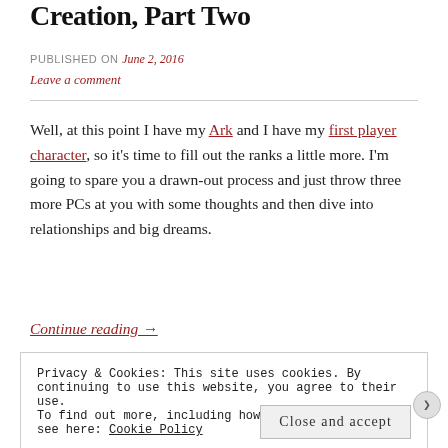Creation, Part Two
PUBLISHED ON June 2, 2016
Leave a comment
Well, at this point I have my Ark and I have my first player character, so it's time to fill out the ranks a little more. I'm going to spare you a drawn-out process and just throw three more PCs at you with some thoughts and then dive into relationships and big dreams.
Continue reading →
Privacy & Cookies: This site uses cookies. By continuing to use this website, you agree to their use. To find out more, including how to control cookies, see here: Cookie Policy
Close and accept